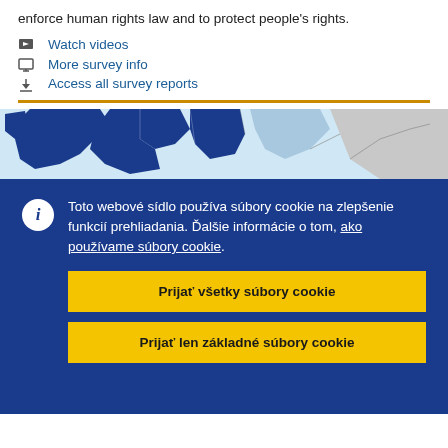enforce human rights law and to protect people's rights.
Watch videos
More survey info
Access all survey reports
[Figure (map): Partial map of Europe showing EU member countries in dark blue, candidate countries in light blue, and non-member countries in grey.]
Toto webové sídlo používa súbory cookie na zlepšenie funkcií prehliadania. Ďalšie informácie o tom, ako používame súbory cookie.
Prijať všetky súbory cookie
Prijať len základné súbory cookie